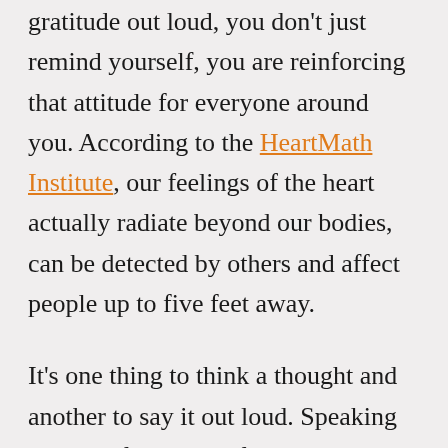gratitude out loud, you don't just remind yourself, you are reinforcing that attitude for everyone around you. According to the HeartMath Institute, our feelings of the heart actually radiate beyond our bodies, can be detected by others and affect people up to five feet away.
It's one thing to think a thought and another to say it out loud. Speaking our beliefs not only facilitates retention by involving more senses, it